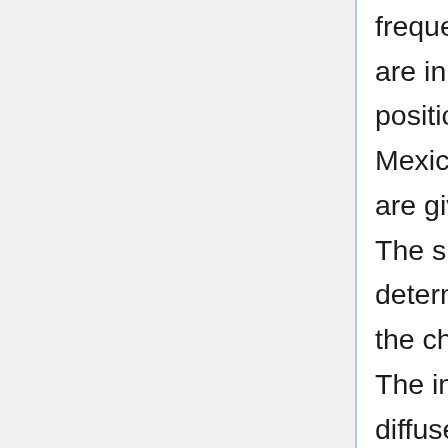frequency channels involved in the templates are inpainted at the corresponding point source positions detected at each frequency using the Mexican Hat Wavelet algorithm (these positions are given in the provided point sources masks). The size of the holes to be inpainted is determined taking into account the beam size of the channel as well as the flux of each source. The inpainting algorithm is based on simple diffuse inpainting, which fills one pixel with the mean value of the neighbouring pixels in an iterative way. To avoid inconsistencies when subtracting two channels, each frequency map is inpainted on the sources detected in that map and on the second map (if any) used to construct the template. Then the maps are smoothed to a common